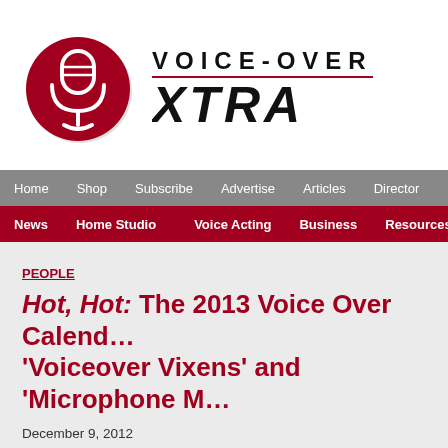[Figure (logo): Voice-Over Xtra logo with dark red circle containing a white microphone icon, next to bold text reading VOICE-OVER on top and XTRA in large italic below, separated by a dark red line]
Home | Shop | Subscribe | Advertise | Articles | Directory
News | Home Studio | Voice Acting | Business | Resources
PEOPLE
Hot, Hot: The 2013 Voice Over Calendar 'Voiceover Vixens' and 'Microphone M
December 9, 2012